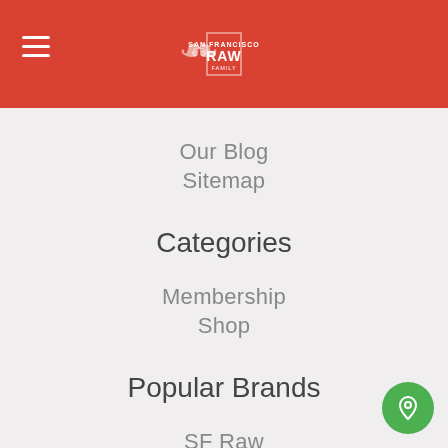[Figure (logo): San Francisco RAW Family logo in white on red header bar with hamburger menu icon on the left]
Our Blog
Sitemap
Categories
Membership
Shop
Popular Brands
SF Raw
Veritable Vegetable
Mountain Rose Herbs
Marin Sun Farms
Diestel Turkey
Green Tripe
[Figure (illustration): Green circular location/map pin button in bottom-right corner]